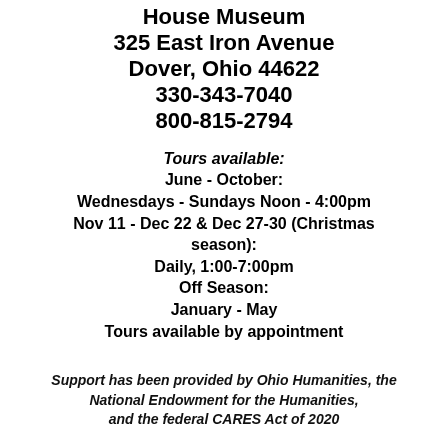House Museum
325 East Iron Avenue
Dover, Ohio 44622
330-343-7040
800-815-2794
Tours available:
June - October:
Wednesdays - Sundays Noon - 4:00pm
Nov 11 - Dec 22 & Dec 27-30 (Christmas season):
Daily, 1:00-7:00pm
Off Season:
January - May
Tours available by appointment
Support has been provided by Ohio Humanities, the National Endowment for the Humanities, and the federal CARES Act of 2020